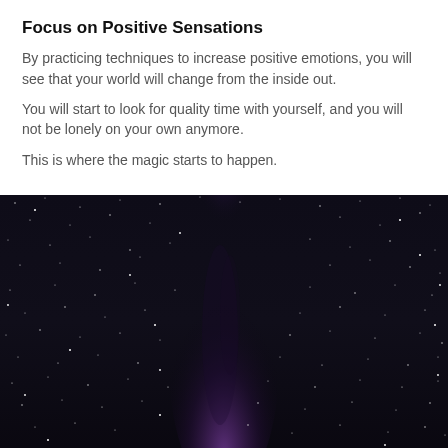Focus on Positive Sensations
By practicing techniques to increase positive emotions, you will see that your world will change from the inside out.
You will start to look for quality time with yourself, and you will not be lonely on your own anymore.
This is where the magic starts to happen.
[Figure (photo): Night sky photograph showing the Milky Way galaxy with a purple/violet galactic core rising vertically through a dark star-filled sky, with slight reddish tones at the lower center.]